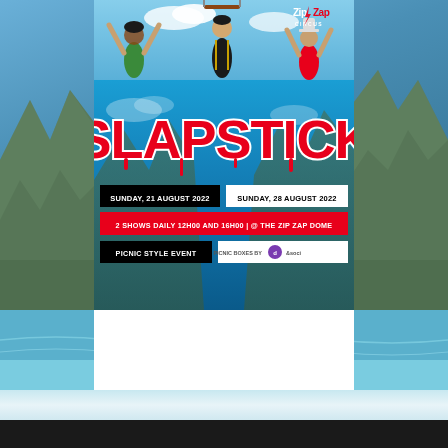[Figure (photo): Zip Zap Circus performers jumping with arms raised against blue sky, with ZipZap Circus logo in top right corner]
[Figure (infographic): SLAPSTICK show promotional banner. Red graffiti-style SLAPSTICK title on blue sky/mountain background. Dates: SUNDAY, 21 AUGUST 2022 and SUNDAY, 28 AUGUST 2022. 2 SHOWS DAILY 12H00 AND 16H00 | @ THE ZIP ZAP DOME. PICNIC STYLE EVENT. PICNIC BOXES BY dish&soci logo.]